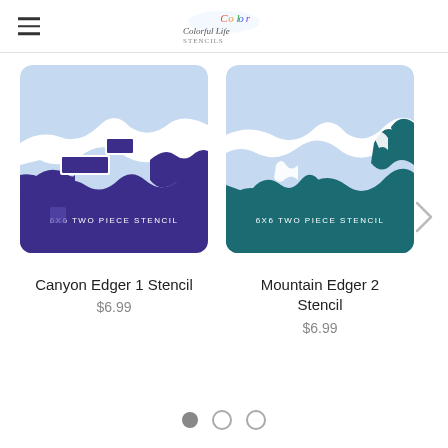Colorful Life Stencils - logo and hamburger menu
[Figure (photo): Canyon Edger 1 Stencil product image: light blue background with dark purple mountain/canyon silhouette shapes and white snow caps. Text overlay reads '6X6 TWO PIECE STENCIL'.]
Canyon Edger 1 Stencil
$6.99
[Figure (photo): Mountain Edger 2 Stencil product image: light blue background with dark teal mountain silhouette shapes and white snow caps. Text overlay reads '6X6 TWO PIECE STENCIL'.]
Mountain Edger 2 Stencil
$6.99